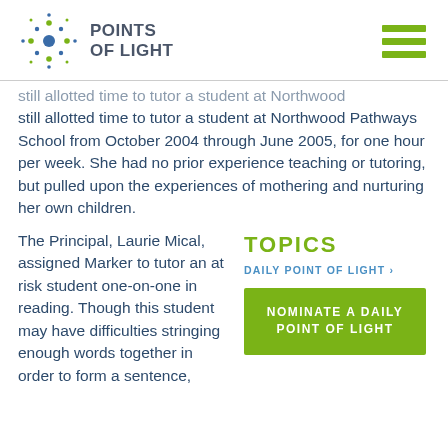[Figure (logo): Points of Light logo — starburst of blue and green dots with 'POINTS OF LIGHT' text]
still allotted time to tutor a student at Northwood Pathways School from October 2004 through June 2005, for one hour per week. She had no prior experience teaching or tutoring, but pulled upon the experiences of mothering and nurturing her own children.
The Principal, Laurie Mical, assigned Marker to tutor an at risk student one-on-one in reading. Though this student may have difficulties stringing enough words together in order to form a sentence,
TOPICS
DAILY POINT OF LIGHT ›
NOMINATE A DAILY POINT OF LIGHT